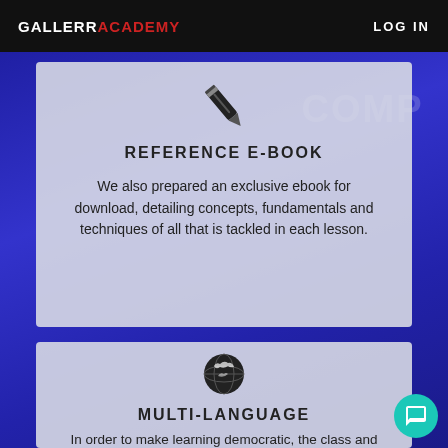GALLERR ACADEMY   LOG IN
[Figure (illustration): Pencil icon above Reference E-Book section]
REFERENCE E-BOOK
We also prepared an exclusive ebook for download, detailing concepts, fundamentals and techniques of all that is tackled in each lesson.
[Figure (illustration): Globe/earth icon above Multi-Language section]
MULTI-LANGUAGE
In order to make learning democratic, the class and all of the material are available in two languages --